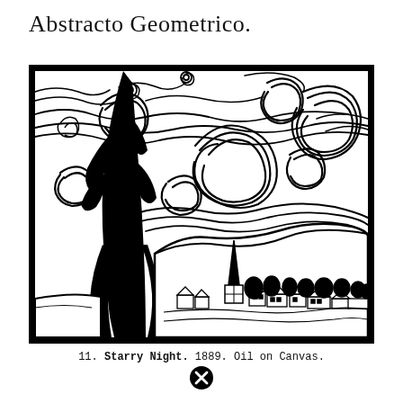Abstracto Geometrico.
[Figure (illustration): Black and white line art illustration of Van Gogh's Starry Night — swirling sky with circular vortex patterns, a large dark cypress tree on the left, rolling hills and a village with a church spire in the lower center-right, framed by a thick black border.]
11. Starry Night. 1889. Oil on Canvas.
⊗